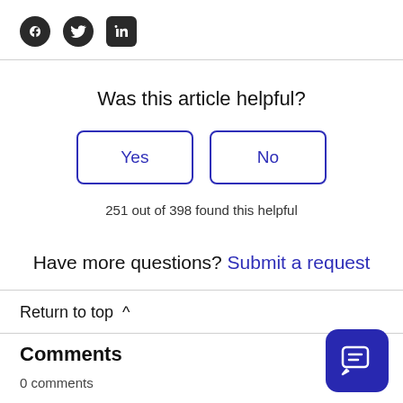[Figure (infographic): Social media share icons: Facebook (circle), Twitter (circle), LinkedIn (rounded square)]
Was this article helpful?
[Figure (infographic): Two buttons: Yes and No, with dark blue/indigo border and text]
251 out of 398 found this helpful
Have more questions? Submit a request
Return to top ^
Comments
0 comments